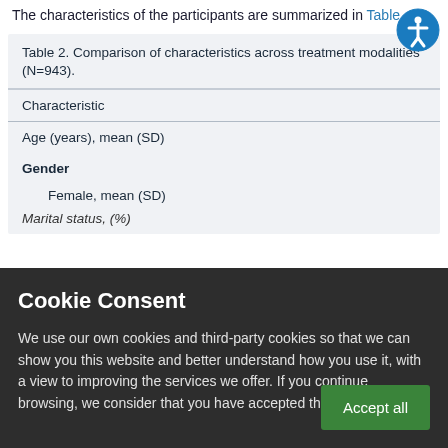The characteristics of the participants are summarized in Table
Table 2. Comparison of characteristics across treatment modalities (N=943).
| Characteristic |
| --- |
| Age (years), mean (SD) |
| Gender |
| Female, mean (SD) |
| Marital status, (%) |
Cookie Consent
We use our own cookies and third-party cookies so that we can show you this website and better understand how you use it, with a view to improving the services we offer. If you continue browsing, we consider that you have accepted the cookies.
Accept all